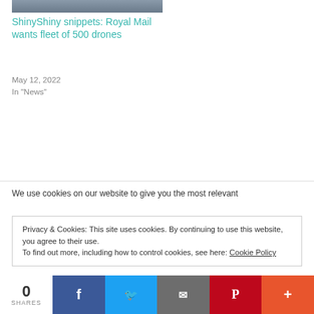[Figure (photo): Partial view of a drone or aerial vehicle image at top of article card]
ShinyShiny snippets: Royal Mail wants fleet of 500 drones
May 12, 2022
In "News"
We use cookies on our website to give you the most relevant
Privacy & Cookies: This site uses cookies. By continuing to use this website, you agree to their use.
To find out more, including how to control cookies, see here: Cookie Policy